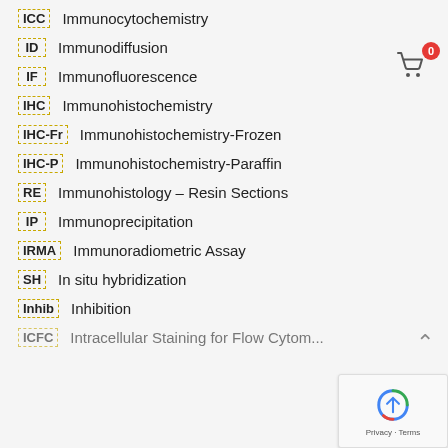ICC  Immunocytochemistry
ID  Immunodiffusion
IF  Immunofluorescence
IHC  Immunohistochemistry
IHC-Fr  Immunohistochemistry-Frozen
IHC-P  Immunohistochemistry-Paraffin
RE  Immunohistology – Resin Sections
IP  Immunoprecipitation
IRMA  Immunoradiometric Assay
SH  In situ hybridization
Inhib  Inhibition
ICFC  Intracellular Staining for Flow Cytometry